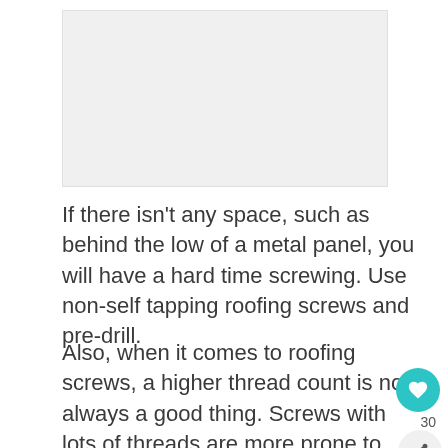[Figure (photo): Image placeholder area at top of page]
If there isn't any space, such as behind the low of a metal panel, you will have a hard time screwing. Use non-self tapping roofing screws and pre-drill.
Also, when it comes to roofing screws, a higher thread count is not always a good thing. Screws with lots of threads are more prone to pulling out